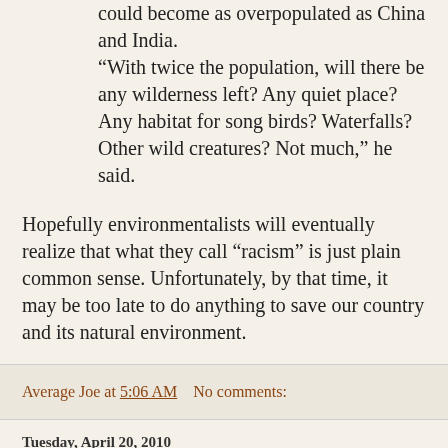could become as overpopulated as China and India. “With twice the population, will there be any wilderness left? Any quiet place? Any habitat for song birds? Waterfalls? Other wild creatures? Not much,” he said.
Hopefully environmentalists will eventually realize that what they call "racism" is just plain common sense. Unfortunately, by that time, it may be too late to do anything to save our country and its natural environment.
Average Joe at 5:06 AM    No comments:
Tuesday, April 20, 2010
Is George Lopez really 55% European?
Megan Smolenyak has some doubts about the type of genetic testing used on Lopez Tonight:
When Larry David responded as if his 37 percent